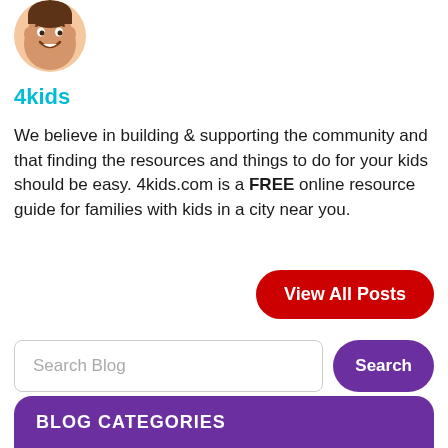[Figure (illustration): Cartoon child avatar emoji with brown hair, smiling face, circular crop]
4kids
We believe in building & supporting the community and that finding the resources and things to do for your kids should be easy. 4kids.com is a FREE online resource guide for families with kids in a city near you.
View All Posts
Search Blog
Search
BLOG CATEGORIES